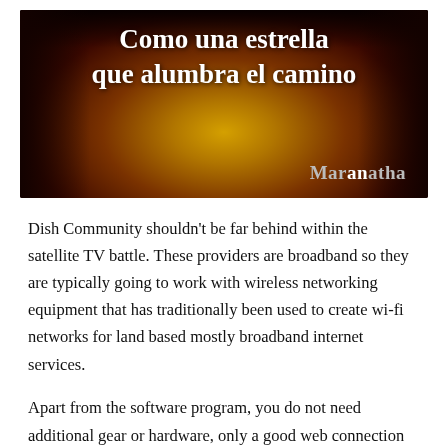[Figure (photo): Dark warm-toned abstract background image with golden/amber central glow and dark red-brown edges. Spanish text 'Como una estrella que alumbra el camino' displayed in bold white serif font at the top, and the brand name 'Maranatha' in grey/white at the bottom right.]
Dish Community shouldn’t be far behind within the satellite TV battle. These providers are broadband so they are typically going to work with wireless networking equipment that has traditionally been used to create wi-fi networks for land based mostly broadband internet services.
Apart from the software program, you do not need additional gear or hardware, only a good web connection will do, be it broadband or dial up. Ideally,